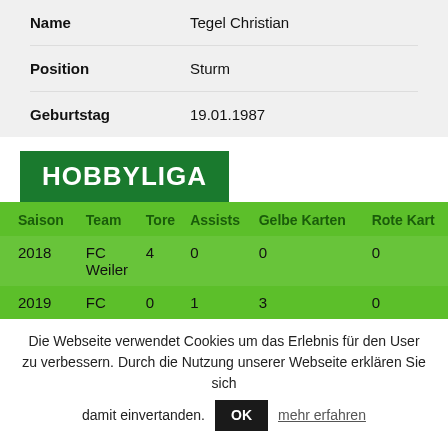| Name | Tegel Christian |
| --- | --- |
| Position | Sturm |
| Geburtstag | 19.01.1987 |
HOBBYLIGA
| Saison | Team | Tore | Assists | Gelbe Karten | Rote Karten |
| --- | --- | --- | --- | --- | --- |
| 2018 | FC Weiler | 4 | 0 | 0 | 0 |
| 2019 | FC | 0 | 1 | 3 | 0 |
Die Webseite verwendet Cookies um das Erlebnis für den User zu verbessern. Durch die Nutzung unserer Webseite erklären Sie sich damit einvertanden.
OK    mehr erfahren